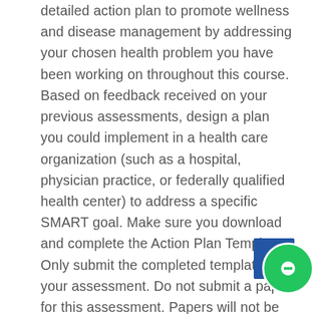detailed action plan to promote wellness and disease management by addressing your chosen health problem you have been working on throughout this course. Based on feedback received on your previous assessments, design a plan you could implement in a health care organization (such as a hospital, physician practice, or federally qualified health center) to address a specific SMART goal. Make sure you download and complete the Action Plan Template. Only submit the completed template for your assessment. Do not submit a paper for this assessment. Papers will not be graded. Consult the scoring guide to ensure that you are addressing all criteria at the level to which you desire. When completing the template, be sure you address the following: Define a goal for an